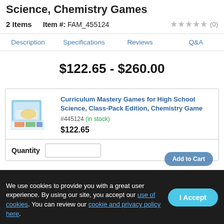Science, Chemistry Games
2 Items    Item #: FAM_455124    ★★★★★ (0)
Description | Specifications | Reviews | Q&A
$122.65 - $260.00
Curriculum Mastery Games for High School Science, Class-Pack Edition, Chemistry Game
#445124 (in stock)
$122.65
Quantity
We use cookies to provide you with a great user experience. By using our site, you accept our use of cookies. You can review our cookie and privacy policy here.